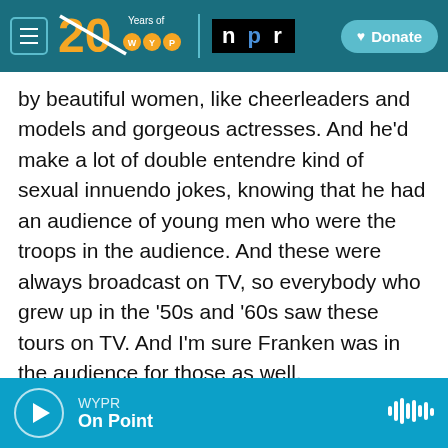[Figure (screenshot): WYPR 20 Years logo and NPR logo navigation bar with Donate button]
by beautiful women, like cheerleaders and models and gorgeous actresses. And he'd make a lot of double entendre kind of sexual innuendo jokes, knowing that he had an audience of young men who were the troops in the audience. And these were always broadcast on TV, so everybody who grew up in the '50s and '60s saw these tours on TV. And I'm sure Franken was in the audience for those as well.
So this was recorded in 2004 about the 2003 USO tour that he'd just come back from. Leeann Tweeden's tour - her USO tour with Al Franken - was
[Figure (screenshot): Audio player bar showing WYPR On Point with play button and waveform icon]